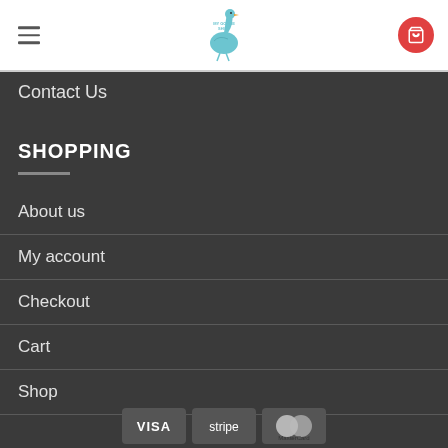[Figure (logo): My Goose Shirt logo with goose illustration in teal/blue]
Contact Us
SHOPPING
About us
My account
Checkout
Cart
Shop
[Figure (logo): Payment icons: VISA, Stripe, MasterCard]